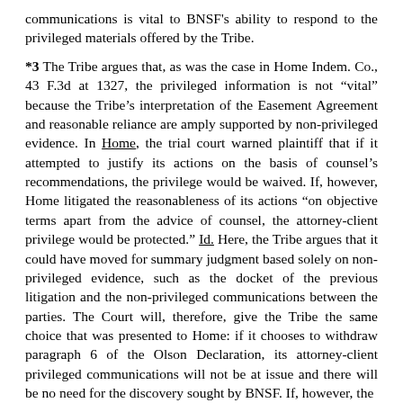communications is vital to BNSF's ability to respond to the privileged materials offered by the Tribe.
*3 The Tribe argues that, as was the case in Home Indem. Co., 43 F.3d at 1327, the privileged information is not “vital” because the Tribe’s interpretation of the Easement Agreement and reasonable reliance are amply supported by non-privileged evidence. In Home, the trial court warned plaintiff that if it attempted to justify its actions on the basis of counsel’s recommendations, the privilege would be waived. If, however, Home litigated the reasonableness of its actions “on objective terms apart from the advice of counsel, the attorney-client privilege would be protected.” Id. Here, the Tribe argues that it could have moved for summary judgment based solely on non-privileged evidence, such as the docket of the previous litigation and the non-privileged communications between the parties. The Court will, therefore, give the Tribe the same choice that was presented to Home: if it chooses to withdraw paragraph 6 of the Olson Declaration, its attorney-client privileged communications will not be at issue and there will be no need for the discovery sought by BNSF. If, however, the